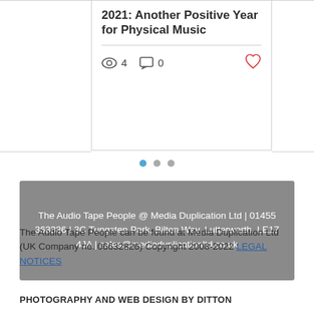2021: Another Positive Year for Physical Music
4  0
[Figure (other): Pagination dots: three dots with the first one highlighted in blue]
The Audio Tape People @ Media Duplication Ltd | 01455 363336 | 3C Tungsten Park, Bilton Way, Lutterworth, LE17 4JA | sales@mediaduplicationltd.co.uk
The Audio Tape People can be found at Media Duplication Ltd (UK Company no. 06632826) Copyright 2008-2022 LEGAL NOTICES
PHOTOGRAPHY AND WEB DESIGN BY DITTON